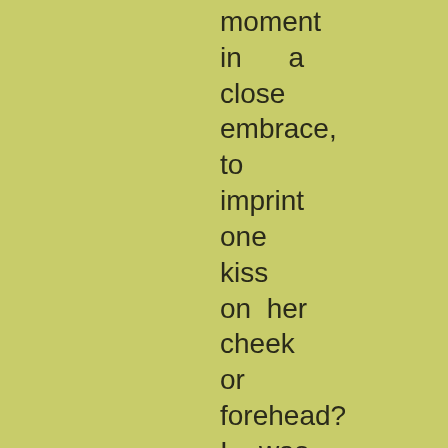moment
in    a
close
embrace,
to
imprint
one
kiss
on  her
cheek
or
forehead?
I   was
not
unreasonable
-    that
was
all      I
wanted: